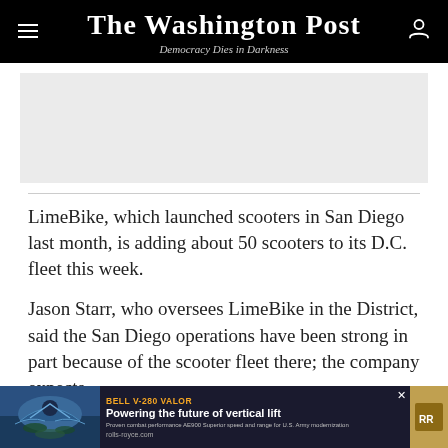The Washington Post
Democracy Dies in Darkness
[Figure (other): Gray advertisement placeholder banner]
LimeBike, which launched scooters in San Diego last month, is adding about 50 scooters to its D.C. fleet this week.
Jason Starr, who oversees LimeBike in the District, said the San Diego operations have been strong in part because of the scooter fleet there; the company expects
[Figure (other): Bell V-280 Valor advertisement - Powering the future of vertical lift, rolls-royce.com]